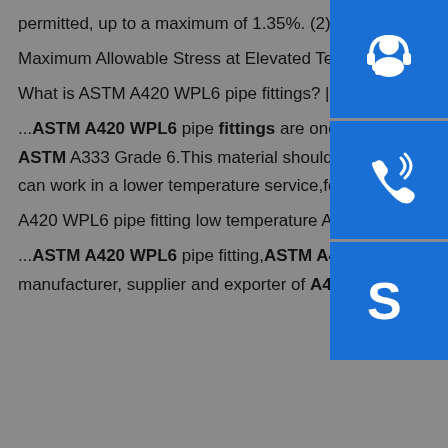permitted, up to a maximum of 1.35%. (2) A420 WPL6 Fittings made from forgings may have 1.35% max Mn. Maximum Allowable Stress at Elevated Temperaturess What is ASTM A420 WPL6 pipe fittings? | Haihao Pipe ...ASTM A420 WPL6 pipe fittings are one kind of butt pipe fittings,they are commonly produced from the steel of ASTM A333 Grade 6.This material should be arranged the charpy V impact test in temperature of -46°C,to make can work in a lower temperature service,for example in weather,winter or deep-sea water offshore projects.sp.info A420 WPL6 pipe fitting low temperature ASTM A420 WPL6 ...ASTM A420 WPL6 pipe fitting,ASTM A420 WPL6 Elbow,ASTM A420 WPL6 Tee,Reducer We are a manufacturer, supplier and exporter of A420 WPL6 Pipe Fittings which abide by the specifications of ASTM A420
[Figure (other): Three blue sidebar buttons with white icons: headset/customer service icon, phone call icon, and Skype icon]